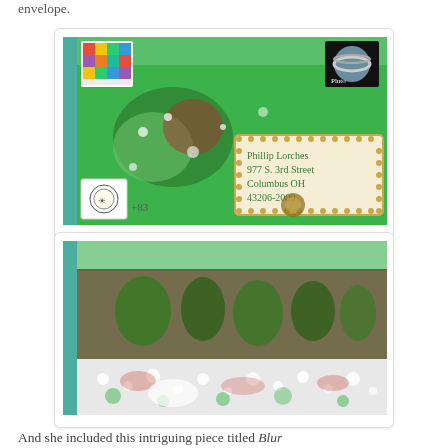envelope.
[Figure (photo): Front of an artistic decorated envelope addressed to Phillip Lorches, 977 S. 3rd Street, Columbus OH 43206-2009. The envelope features green, red, and white abstract painted patterns, decorative stamps including a sun/moon stamp marked +83 and a planet/Jupiter stamp, a colorful grid stamp in the upper left, and a handwritten address in a decorative border with pearl dots.]
[Figure (photo): Back of the same artistic decorated envelope, showing abstract painted patterns in green, red/dark red, and white with heavy texture and splotchy paint effects. Teal tape along the left edge.]
And she included this intriguing piece titled Blur